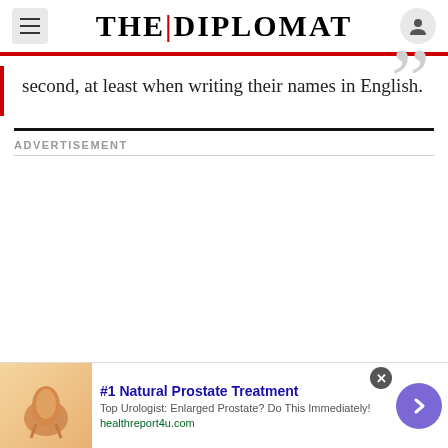THE | DIPLOMAT
second, at least when writing their names in English.
ADVERTISEMENT
[Figure (other): Advertisement banner: #1 Natural Prostate Treatment. Top Urologist: Enlarged Prostate? Do This Immediately! healthreport4u.com]